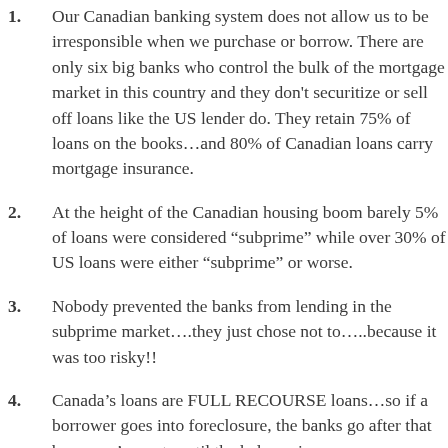1. Our Canadian banking system does not allow us to be irresponsible when we purchase or borrow. There are only six big banks who control the bulk of the mortgage market in this country and they don’t securitize or sell off loans like the US lender do. They retain 75% of loans on the books…and 80% of Canadian loans carry mortgage insurance.
2. At the height of the Canadian housing boom barely 5% of loans were considered “subprime” while over 30% of US loans were either “subprime” or worse.
3. Nobody prevented the banks from lending in the subprime market….they just chose not to…..because it was too risky!!
4. Canada’s loans are FULL RECOURSE loans…so if a borrower goes into foreclosure, the banks go after that borrower’s assets until the balance is